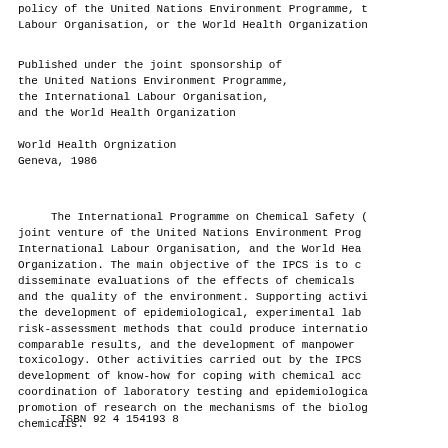policy of the United Nations Environment Programme, the International Labour Organisation, or the World Health Organization.
Published under the joint sponsorship of
the United Nations Environment Programme,
the International Labour Organisation,
and the World Health Organization
World Health Orgnization
Geneva, 1986
The International Programme on Chemical Safety (IPCS) is a joint venture of the United Nations Environment Programme, the International Labour Organisation, and the World Health Organization. The main objective of the IPCS is to carry out and disseminate evaluations of the effects of chemicals on human health and the quality of the environment. Supporting activities include the development of epidemiological, experimental laboratory, and risk-assessment methods that could produce internationally comparable results, and the development of manpower in toxicology. Other activities carried out by the IPCS include the development of know-how for coping with chemical accidents, coordination of laboratory testing and epidemiological studies, and promotion of research on the mechanisms of the biological action of chemicals.
ISBN 92 4 154193 8